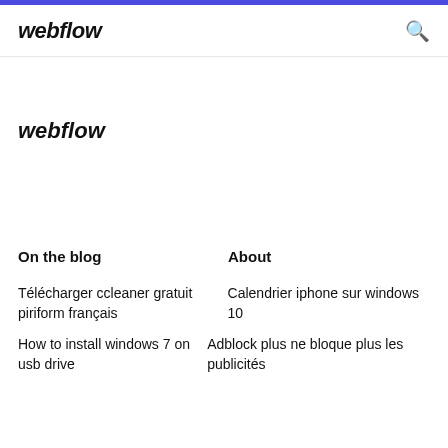webflow
webflow
On the blog
About
Télécharger ccleaner gratuit piriform français
Calendrier iphone sur windows 10
How to install windows 7 on usb drive
Adblock plus ne bloque plus les publicités